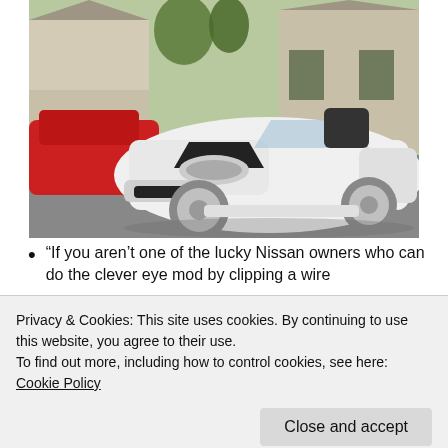[Figure (photo): A modified white Mazda Miata convertible sports car with lowered suspension and aftermarket wheels, parked in a residential driveway. A red car is partially visible on the left, and houses are visible in the background.]
“If you aren’t one of the lucky Nissan owners who can do the clever eye mod by clipping a wire
Privacy & Cookies: This site uses cookies. By continuing to use this website, you agree to their use.
To find out more, including how to control cookies, see here: Cookie Policy
lights can’t close, which would explain the double